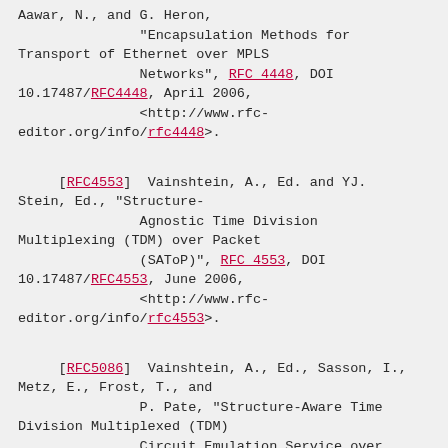Aawar, N., and G. Heron, "Encapsulation Methods for Transport of Ethernet over MPLS Networks", RFC 4448, DOI 10.17487/RFC4448, April 2006, <http://www.rfc-editor.org/info/rfc4448>.
[RFC4553]  Vainshtein, A., Ed. and YJ. Stein, Ed., "Structure-Agnostic Time Division Multiplexing (TDM) over Packet (SAToP)", RFC 4553, DOI 10.17487/RFC4553, June 2006, <http://www.rfc-editor.org/info/rfc4553>.
[RFC5086]  Vainshtein, A., Ed., Sasson, I., Metz, E., Frost, T., and P. Pate, "Structure-Aware Time Division Multiplexed (TDM) Circuit Emulation Service over Packet Switched Network